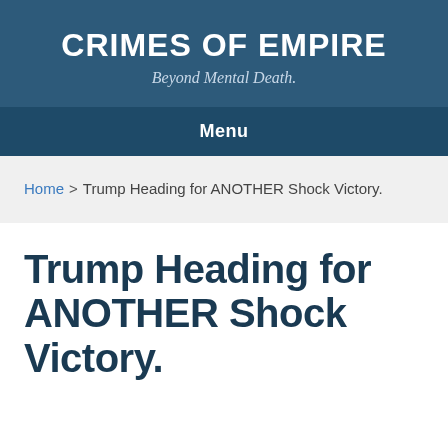CRIMES OF EMPIRE
Beyond Mental Death.
Menu
Home > Trump Heading for ANOTHER Shock Victory.
Trump Heading for ANOTHER Shock Victory.